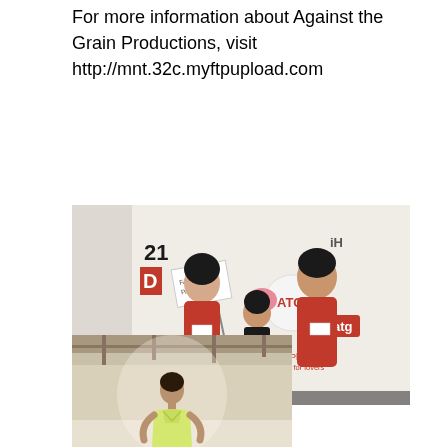For more information about Against the Grain Productions, visit http://mnt.32c.myftpupload.com
[Figure (photo): Two women in red dresses and a small child standing in front of a backdrop with logos including ATG, '21', 'D', and 'Pho is for lovers'. One woman holds a sign reading 'Fashion Passion'. Text at bottom right reads '2013 ATG Fashion for a Passion 5'.]
[Figure (photo): A model on a runway wearing a yellow/lime green v-neck dress, taken in an industrial-looking venue.]